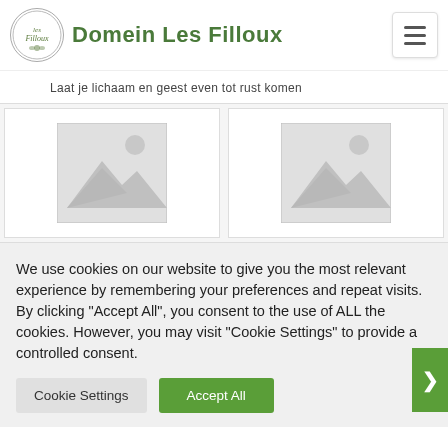Domein Les Filloux
Laat je lichaam en geest even tot rust komen
[Figure (photo): Placeholder image tile 1 - grey image placeholder with mountain and sun icon]
[Figure (photo): Placeholder image tile 2 - grey image placeholder with mountain and sun icon]
We use cookies on our website to give you the most relevant experience by remembering your preferences and repeat visits. By clicking "Accept All", you consent to the use of ALL the cookies. However, you may visit "Cookie Settings" to provide a controlled consent.
Cookie Settings | Accept All